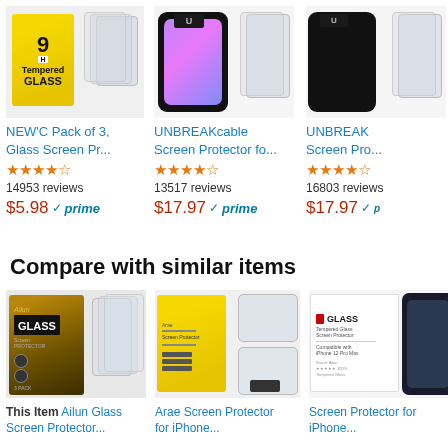[Figure (photo): Product image for NEW'C Pack of 3 Glass Screen Protector - yellow 9H Tempered Glass box with clear panels]
NEW'C Pack of 3, Glass Screen Pr...
★★★★☆ 14953 reviews $5.98 ✓prime
[Figure (photo): UNBREAKcable Screen Protector - black phone with colorful screen and clear panel]
UNBREAKcable Screen Protector fo...
★★★★☆ 13517 reviews $17.97 ✓prime
[Figure (photo): UNBREAK Screen Protector - black phone with clear panel, partially visible]
UNBREAK Screen Pro...
★★★★☆ 16803 reviews $17.97 ✓p
Compare with similar items
[Figure (photo): Ailun Glass Screen Protector product image - black/gold box with clear panels]
[Figure (photo): Arae Screen Protector for iPhone - yellow box with multiple clear screen protectors]
[Figure (photo): Screen Protector for iPhone - white box with dark phone]
This Item Ailun Glass Screen Protector...
Arae Screen Protector for iPhone...
Screen Protector for iPhone 12 Pro Max 47i...